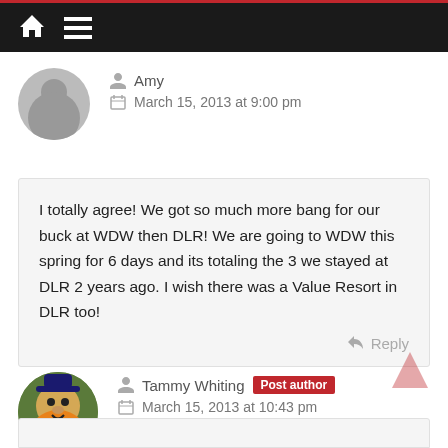Navigation bar with home and menu icons
Amy
March 15, 2013 at 9:00 pm
I totally agree! We got so much more bang for our buck at WDW then DLR! We are going to WDW this spring for 6 days and its totaling the 3 we stayed at DLR 2 years ago. I wish there was a Value Resort in DLR too!
Reply
Tammy Whiting Post author
March 15, 2013 at 10:43 pm